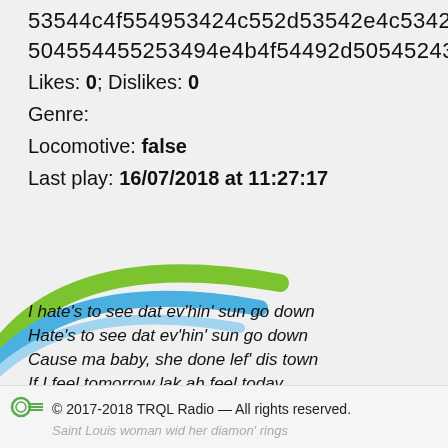53544c4f554953424c552d53542e4c5342
504554455253494e4b4f54492d50545243
Likes: 0; Dislikes: 0
Genre:
Locomotive: false
Last play: 16/07/2018 at 11:27:17
[Figure (logo): Partial circular arc logo in green and blue colors, cropped at lower-left]
I hate's to see dat ev'hin' sun go down
Hate's to see dat ev'hin' sun go down
Cause ma baby, she done lef' dis town
If I feel tomorrow lak ah feel today
Feel tomorrow lak ah feel today
I'll pack up my trunk, and make ma git away
© 2017-2018 TRQL Radio — All rights reserved.
Saint Louis woman wid her diamon' rings